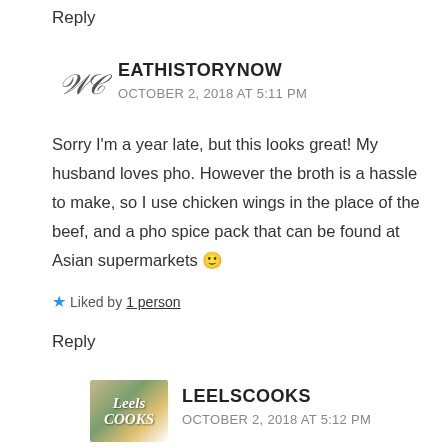Reply
EATHISTORYNOW
OCTOBER 2, 2018 AT 5:11 PM
Sorry I'm a year late, but this looks great! My husband loves pho. However the broth is a hassle to make, so I use chicken wings in the place of the beef, and a pho spice pack that can be found at Asian supermarkets 🙂
★ Liked by 1 person
Reply
LEELSCOOKS
OCTOBER 2, 2018 AT 5:12 PM